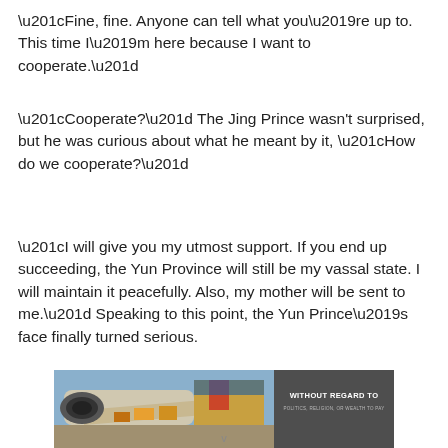“Fine, fine. Anyone can tell what you’re up to. This time I’m here because I want to cooperate.”
“Cooperate?” The Jing Prince wasn't surprised, but he was curious about what he meant by it, “How do we cooperate?”
“I will give you my utmost support. If you end up succeeding, the Yun Province will still be my vassal state. I will maintain it peacefully. Also, my mother will be sent to me.” Speaking to this point, the Yun Prince’s face finally turned serious.
[Figure (photo): Advertisement banner showing an airplane being loaded with cargo at an airport. On the right side is a dark overlay with text reading WITHOUT REGARD TO in white bold letters, and smaller text below.]
v